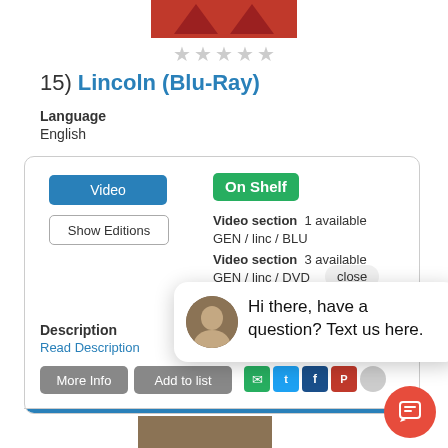[Figure (photo): Partial view of a red book/movie cover at the top]
[Figure (other): Five empty star rating icons]
15) Lincoln (Blu-Ray)
Language
English
Video | On Shelf | Show Editions | Video section 1 available | GEN / linc / BLU | Video section 3 available | GEN / linc / DVD | close
Description
Read Description
More Info | Add to list
[Figure (screenshot): Chat popup with avatar photo saying: Hi there, have a question? Text us here.]
[Figure (photo): Partial view of Anna Karenina book cover at the bottom]
[Figure (other): Red circular chat button with phone icon at bottom right]